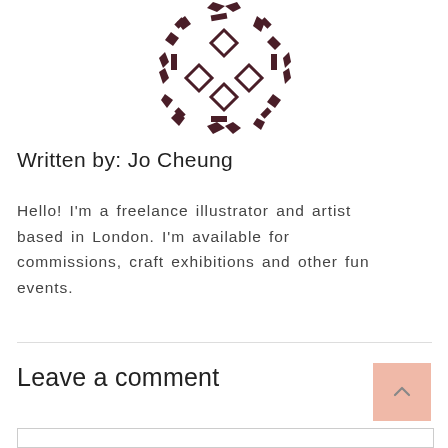[Figure (logo): Circular geometric logo made of dark brown/maroon diamond and rectangular shapes arranged in a circular pattern on white background]
Written by: Jo Cheung
Hello! I'm a freelance illustrator and artist based in London. I'm available for commissions, craft exhibitions and other fun events.
Leave a comment